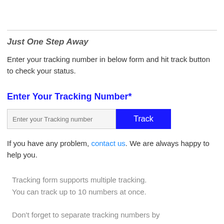Just One Step Away
Enter your tracking number in below form and hit track button to check your status.
Enter Your Tracking Number*
[Figure (other): Text input field with placeholder 'Enter your Tracking number' and a blue 'Track' button]
If you have any problem, contact us. We are always happy to help you.
Tracking form supports multiple tracking. You can track up to 10 numbers at once.
Don't forget to separate tracking numbers by